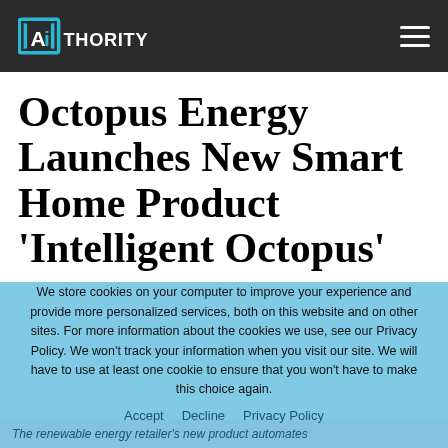AIthority
Octopus Energy Launches New Smart Home Product 'Intelligent Octopus'
We store cookies on your computer to improve your experience and provide more personalized services, both on this website and on other sites. For more information about the cookies we use, see our Privacy Policy. We won't track your information when you visit our site. We will have to use at least one cookie to ensure that you won't have to make this choice again.
Accept   Decline   Privacy Policy
The renewable energy retailer's new product automates